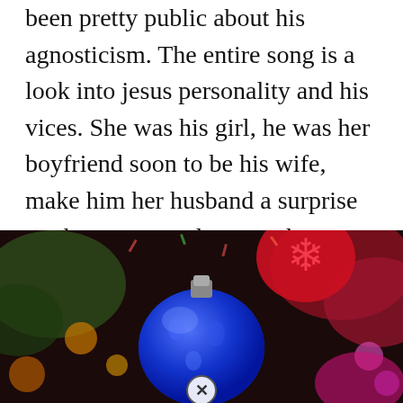been pretty public about his agnosticism. The entire song is a look into jesus personality and his vices. She was his girl, he was her boyfriend soon to be his wife, make him her husband a surprise on the way, any day, any day one healthy little giggling, dribbling baby boy Lyrics to ïchristmas songï by dave matthews band.
[Figure (photo): Close-up photo of a blue glittery Christmas ornament surrounded by colorful lights and decorations including red snowflake ornaments and green tinsel. A close button (X in circle) is visible at the bottom center of the image.]